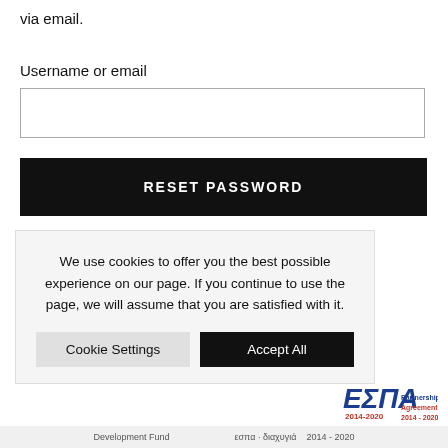via email.
Username or email
RESET PASSWORD
We use cookies to offer you the best possible experience on our page. If you continue to use the page, we will assume that you are satisfied with it.
Cookie Settings
Accept All
[Figure (logo): ESPA 2014-2020 Partnership Agreement logo]